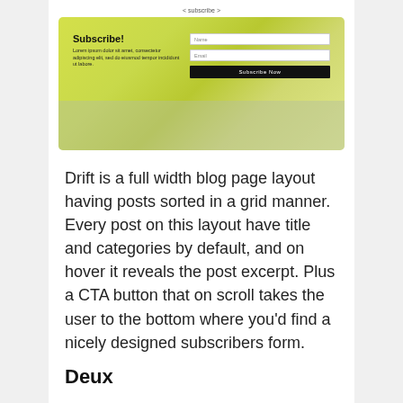< subscribe >
[Figure (screenshot): Screenshot of a website subscriber form with a nature/grass background, showing a 'Subscribe!' heading, lorem ipsum text, two input fields (Name, Email), and a dark 'Subscribe Now' button.]
Drift is a full width blog page layout having posts sorted in a grid manner. Every post on this layout have title and categories by default, and on hover it reveals the post excerpt. Plus a CTA button that on scroll takes the user to the bottom where you'd find a nicely designed subscribers form.
Deux